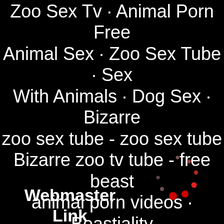Zoo Sex Tv · Animal Porn Free Animal Sex · Zoo Sex Tube · Sex With Animals · Dog Sex · Bizarre zoo sex tube - zoo sex tube Bizarre zoo tv tube - free beast animal porn videos · Beastiality Hub - beastiality porn tube · Extreme sex f... -- · sex Porn Tub
[Figure (other): Circular loading spinner made of red and pink dots on black background]
Webmaster Link